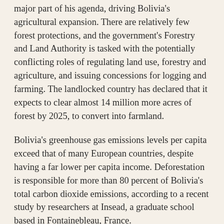major part of his agenda, driving Bolivia's agricultural expansion. There are relatively few forest protections, and the government's Forestry and Land Authority is tasked with the potentially conflicting roles of regulating land use, forestry and agriculture, and issuing concessions for logging and farming. The landlocked country has declared that it expects to clear almost 14 million more acres of forest by 2025, to convert into farmland.
Bolivia's greenhouse gas emissions levels per capita exceed that of many European countries, despite having a far lower per capita income. Deforestation is responsible for more than 80 percent of Bolivia's total carbon dioxide emissions, according to a recent study by researchers at Insead, a graduate school based in Fontainebleau, France.
A major culprit is the cultivation of soy, which has jumped more than 500 percent in Bolivia since 1991, to 3.8 million hectares in 2013, according to the most recent agricultural censuses. Little of that soy is consumed domestically. The vast majority is processed and exported as animal feed in a commodities trade that serves a global appetite for hamburgers, chicken and pork.